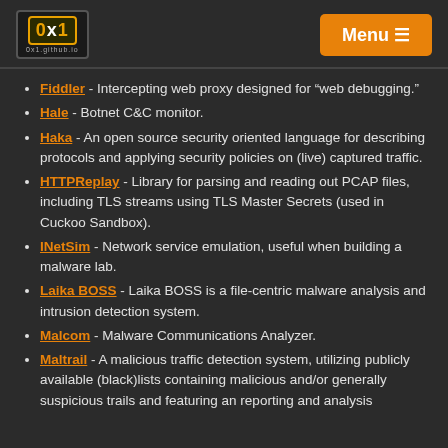0x1 logo and Menu button
Fiddler - Intercepting web proxy designed for “web debugging.”
Hale - Botnet C&C monitor.
Haka - An open source security oriented language for describing protocols and applying security policies on (live) captured traffic.
HTTPReplay - Library for parsing and reading out PCAP files, including TLS streams using TLS Master Secrets (used in Cuckoo Sandbox).
INetSim - Network service emulation, useful when building a malware lab.
Laika BOSS - Laika BOSS is a file-centric malware analysis and intrusion detection system.
Malcom - Malware Communications Analyzer.
Maltrail - A malicious traffic detection system, utilizing publicly available (black)lists containing malicious and/or generally suspicious trails and featuring an reporting and analysis interface.